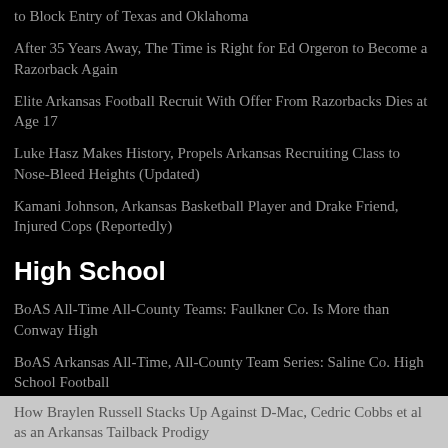to Block Entry of Texas and Oklahoma
After 35 Years Away, The Time is Right for Ed Orgeron to Become a Razorback Again
Elite Arkansas Football Recruit With Offer From Razorbacks Dies at Age 17
Luke Hasz Makes History, Propels Arkansas Recruiting Class to Nose-Bleed Heights (Updated)
Kamani Johnson, Arkansas Basketball Player and Drake Friend, Injured Cops (Reportedly)
High School
BoAS All-Time All-County Teams: Faulkner Co. Is More than Conway High
BoAS Arkansas All-Time, All-County Team Series: Saline Co. High School Football
Top 11 Running Backs in Arkansas High School Football History: Part 1
How Braylen Russell Stacks Up Against D-Mac, Cedric Cobbs et al as an Arkansas Tailback Prodigy